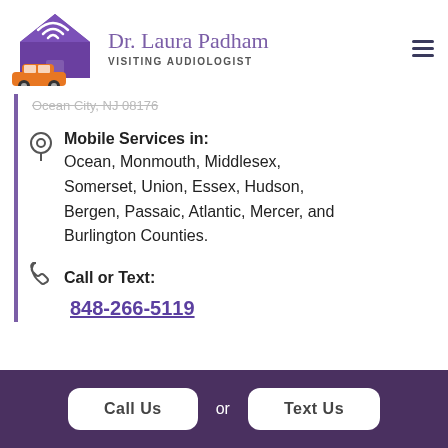[Figure (logo): Dr. Laura Padham Visiting Audiologist logo: purple house with sound waves and orange car, script name and uppercase subtitle]
Ocean City, NJ 08176
Mobile Services in:
Ocean, Monmouth, Middlesex, Somerset, Union, Essex, Hudson, Bergen, Passaic, Atlantic, Mercer, and Burlington Counties.
Call or Text:
848-266-5119
Call Us   or   Text Us